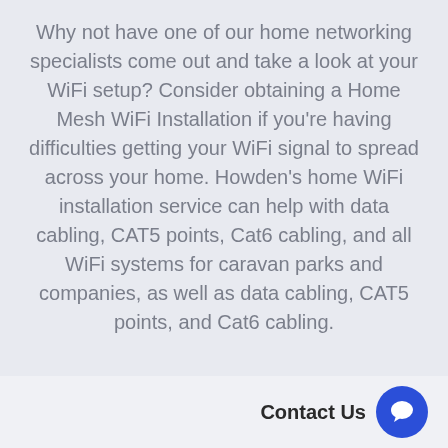Why not have one of our home networking specialists come out and take a look at your WiFi setup? Consider obtaining a Home Mesh WiFi Installation if you're having difficulties getting your WiFi signal to spread across your home. Howden's home WiFi installation service can help with data cabling, CAT5 points, Cat6 cabling, and all WiFi systems for caravan parks and companies, as well as data cabling, CAT5 points, and Cat6 cabling.
Contact Us